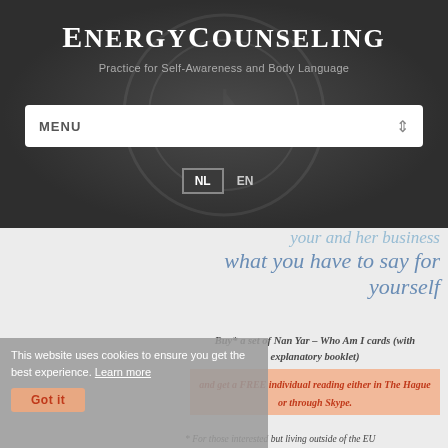ENERGYCOUNSELING
Practice for Self-Awareness and Body Language
MENU
NL EN
what you have to say for yourself
This website uses cookies to ensure you get the best experience. Learn more
Buy* a set of Nan Yar – Who Am I cards (with explanatory booklet)
and get a FREE individual reading either in The Hague or through Skype.
Got it
* For those interested but living outside of the EU